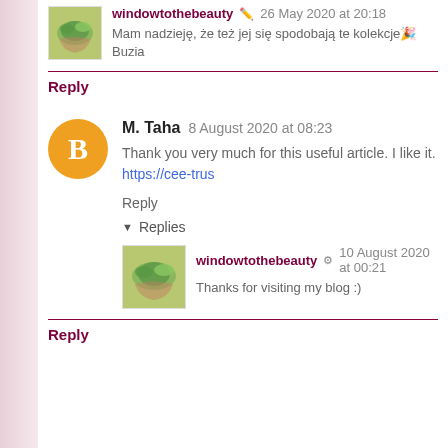windowtothebeauty 26 May 2020 at 20:18
Mam nadzieję, że też jej się spodobają te kolekcje🎉 Buzia
Reply
M. Taha 8 August 2020 at 08:23
Thank you very much for this useful article. I like it. https://cee-tru...
Reply
▼ Replies
windowtothebeauty 10 August 2020 at 00:21
Thanks for visiting my blog :)
Reply